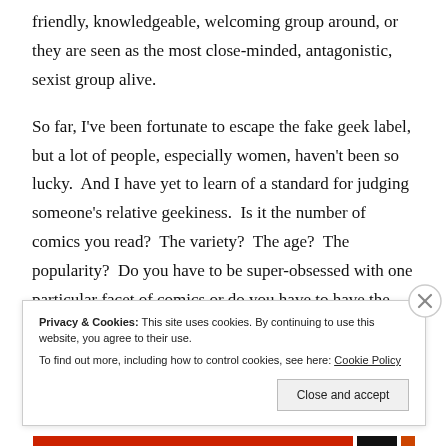friendly, knowledgeable, welcoming group around, or they are seen as the most close-minded, antagonistic, sexist group alive.

So far, I've been fortunate to escape the fake geek label, but a lot of people, especially women, haven't been so lucky.  And I have yet to learn of a standard for judging someone's relative geekiness.  Is it the number of comics you read?  The variety?  The age?  The popularity?  Do you have to be super-obsessed with one particular facet of comics or do you have to have the
Privacy & Cookies: This site uses cookies. By continuing to use this website, you agree to their use.
To find out more, including how to control cookies, see here: Cookie Policy
Close and accept